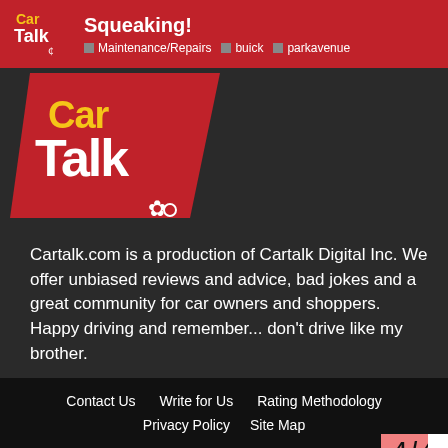Squeaking! Maintenance/Repairs buick parkavenue
[Figure (logo): Car Talk logo — large red parallelogram with 'Car Talk' in yellow and white letters, with a small mechanic figure]
Cartalk.com is a production of Cartalk Digital Inc. We offer unbiased reviews and advice, bad jokes and a great community for car owners and shoppers. Happy driving and remember... don't drive like my brother.
Contact Us   Write for Us   Rating Methodology   Privacy Policy   Site Map   © 2021 Cartalk Digital Inc.